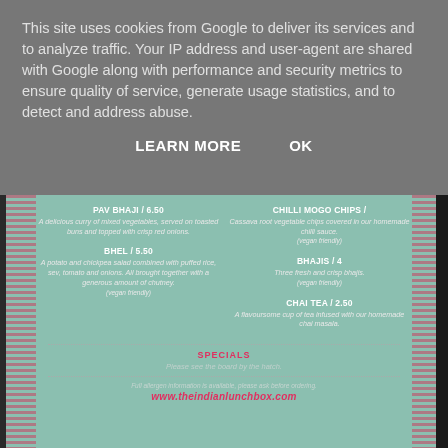This site uses cookies from Google to deliver its services and to analyze traffic. Your IP address and user-agent are shared with Google along with performance and security metrics to ensure quality of service, generate usage statistics, and to detect and address abuse.
LEARN MORE    OK
[Figure (photo): Restaurant menu on teal/mint green background with red dotted border decoration, showing Indian food items: Pav Bhaji /6.50, Bhel /5.50, Chilli Mogo Chips (price partially cut off), Bhajis /4, Chai Tea /2.50, Specials section, allergen info, and website www.theindianlunchbox.com]
PAV BHAJI / 6.50
A delicious curry of mixed vegetables, served on toasted buns and topped with crisp red onions.
BHEL / 5.50
A potato and chickpea salad combined with puffed rice, sev, tomato and onions. All brought together with a generous amount of chutney. (vegan friendly)
CHILLI MOGO CHIPS /...
Cassava root vegetable chips covered in our homemade chilli sauce. (vegan friendly)
BHAJIS / 4
Three fresh and crisp bhajis. (vegan friendly)
CHAI TEA / 2.50
A flavoursome cup of tea infused with our homemade chai masala.
SPECIALS
Please see the board by the hatch.
Full allergen information is available, please ask before ordering.
www.theindianlunchbox.com